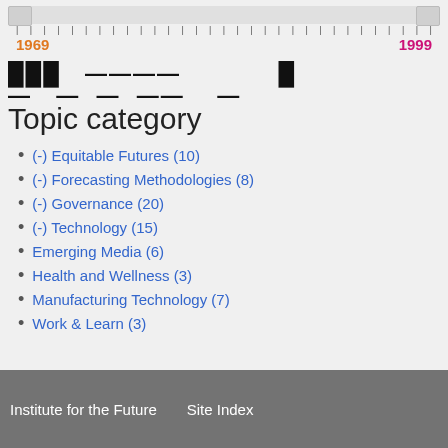[Figure (other): Timeline slider from 1969 to 1999 with tick marks and two handles at each end]
[Figure (other): Activity bar showing publication frequency as black dashes across the timeline]
Topic category
(-) Equitable Futures (10)
(-) Forecasting Methodologies (8)
(-) Governance (20)
(-) Technology (15)
Emerging Media (6)
Health and Wellness (3)
Manufacturing Technology (7)
Work & Learn (3)
Institute for the Future    Site Index